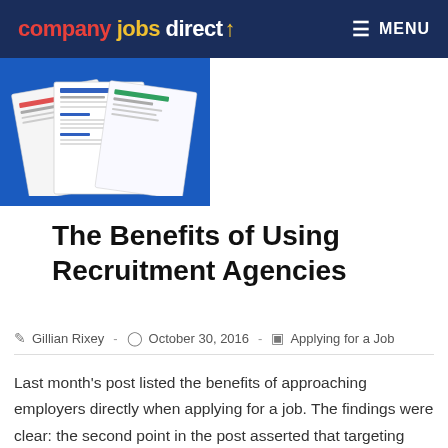company jobs direct  MENU
[Figure (illustration): Blue background image showing several CV/resume documents fanned out]
The Benefits of Using Recruitment Agencies
Gillian Rixey  -  October 30, 2016  -  Applying for a Job
Last month's post listed the benefits of approaching employers directly when applying for a job. The findings were clear: the second point in the post asserted that targeting employers is quite simply the best way to find a job. This is true if we consider the high percentage of unadvertised jobs. Recruitment agencies can generally only access jobs which are advertised on the open market. Therefore, using their services means that the job applicant is only applying for at most 40% of the actual jobs